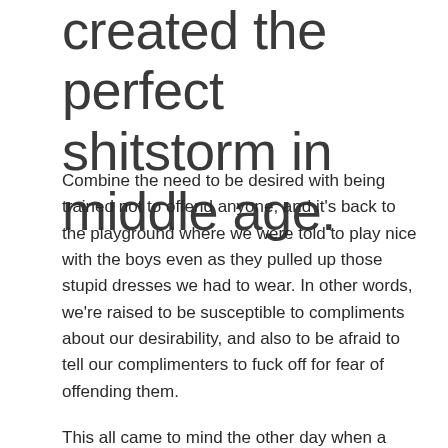created the perfect shitstorm in middle age.
Combine the need to be desired with being trained not to offend anyone, and it's back to the playground where we were told to play nice with the boys even as they pulled up those stupid dresses we had to wear. In other words, we're raised to be susceptible to compliments about our desirability, and also to be afraid to tell our complimenters to fuck off for fear of offending them.
This all came to mind the other day when a girlfriend called me in tears because her dream guy who allegedly wanted to build a life together was pulling away following an intense three-month relationship. He told her he could still see them together, but he needed to see her far less frequently and only when he was up to it